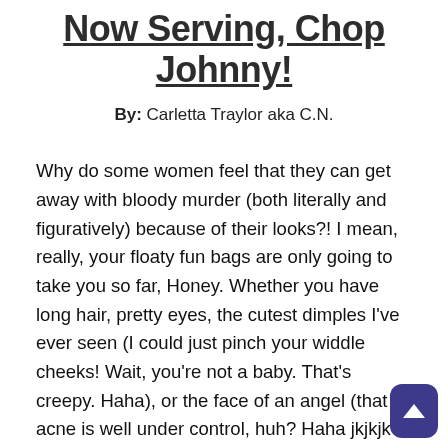Now Serving, Chop Johnny!
By: Carletta Traylor aka C.N.
Why do some women feel that they can get away with bloody murder (both literally and figuratively) because of their looks?! I mean, really, your floaty fun bags are only going to take you so far, Honey. Whether you have long hair, pretty eyes, the cutest dimples I’ve ever seen (I could just pinch your widdle cheeks! Wait, you’re not a baby. That’s creepy. Haha), or the face of an angel (that acne is well under control, huh? Haha jkjkjk I can’t talk-my face feels like one of those Braille menus from McDonalds. Haha), sin is sin (bad things that we say,